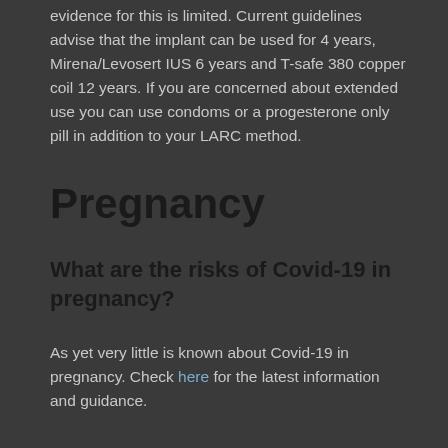evidence for this is limited. Current guidelines advise that the implant can be used for 4 years, Mirena/Levosert IUS 6 years and T-safe 380 copper coil 12 years. If you are concerned about extended use you can use condoms or a progesterone only pill in addition to your LARC method.
Pregnancy
What are the risks of Covid-19 in pregnancy?
As yet very little is known about Covid-19 in pregnancy. Check here for the latest information and guidance.